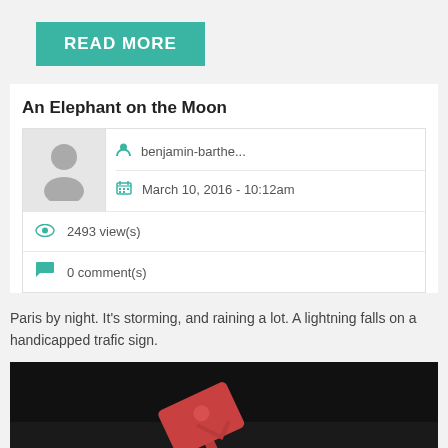READ MORE
An Elephant on the Moon
| benjamin-barthe... |
| March 10, 2016 - 10:12am |
| 2493 view(s) |
| 0 comment(s) |
Paris by night. It's storming, and raining a lot. A lightning falls on a handicapped trafic sign.
[Figure (photo): Dark night photo showing a reddish/pink handicapped sign fallen on dark ground with stone/gravel texture]